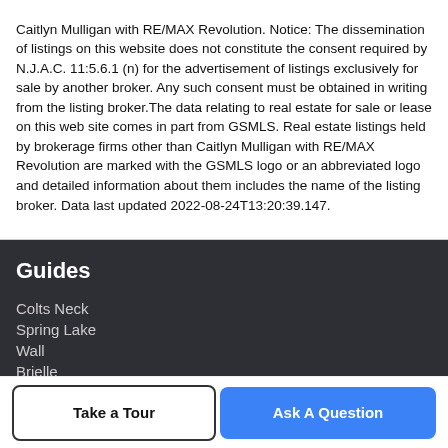Caitlyn Mulligan with RE/MAX Revolution. Notice: The dissemination of listings on this website does not constitute the consent required by N.J.A.C. 11:5.6.1 (n) for the advertisement of listings exclusively for sale by another broker. Any such consent must be obtained in writing from the listing broker.The data relating to real estate for sale or lease on this web site comes in part from GSMLS. Real estate listings held by brokerage firms other than Caitlyn Mulligan with RE/MAX Revolution are marked with the GSMLS logo or an abbreviated logo and detailed information about them includes the name of the listing broker. Data last updated 2022-08-24T13:20:39.147.
Guides
Colts Neck
Spring Lake
Wall
Brielle
Take a Tour
Ask A Question